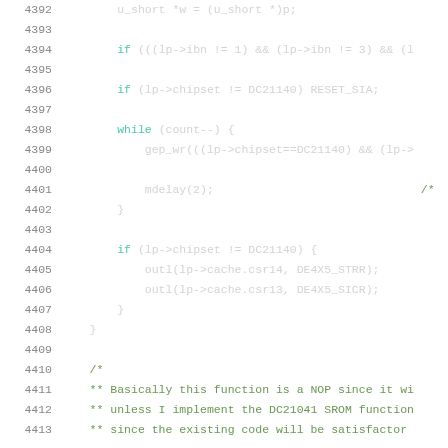Source code listing, lines 4392-4413, C programming language with syntax highlighting